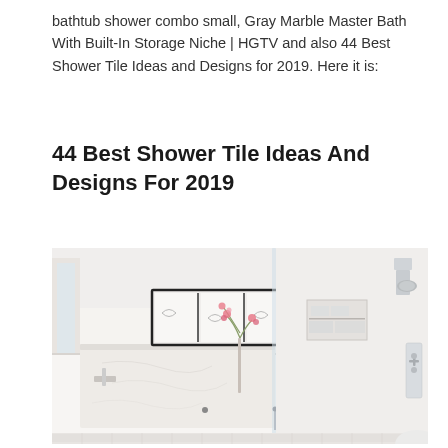bathtub shower combo small, Gray Marble Master Bath With Built-In Storage Niche | HGTV and also 44 Best Shower Tile Ideas and Designs for 2019. Here it is:
44 Best Shower Tile Ideas And Designs For 2019
[Figure (photo): Bright white bathroom interior showing a marble bathtub surround on the left, a glass-enclosed shower on the right with chrome fixtures and a built-in niche, a framed triptych artwork on the wall above the tub, pink flowers in a vase, and white tile flooring.]